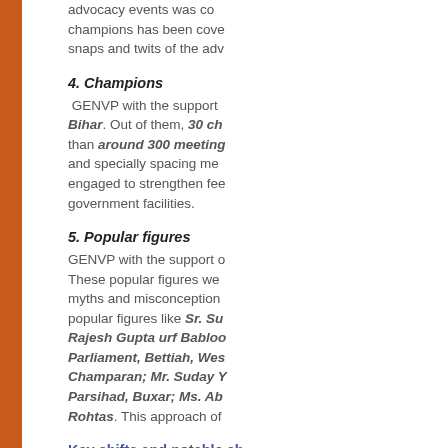advocacy events was co... champions has been cove... snaps and twits of the adv...
4. Champions
GENVP with the support Bihar. Out of them, 30 ch than around 300 meetings and specially spacing met engaged to strengthen fee government facilities.
5. Popular figures
GENVP with the support o These popular figures we myths and misconception popular figures like Sr. Su Rajesh Gupta urf Babloo Parliament, Bettiah, Wes Champaran; Mr. Suday Y Parsihad, Buxar; Ms. Ab Rohtas. This approach of
Key shifts and notable ch
1. The co...